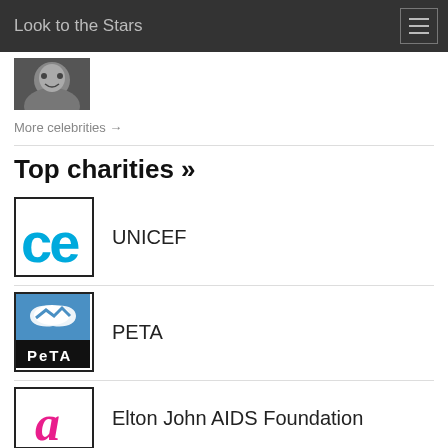Look to the Stars
[Figure (photo): Partial celebrity photo, cropped at top]
More celebrities →
Top charities »
[Figure (logo): UNICEF logo with cyan 'ce' letters]
UNICEF
[Figure (logo): PETA logo with rabbit on blue background and PETA text]
PETA
[Figure (logo): Elton John AIDS Foundation logo with pink letter 'a']
Elton John AIDS Foundation